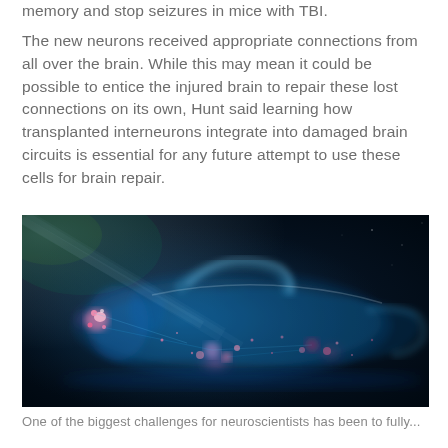memory and stop seizures in mice with TBI.
The new neurons received appropriate connections from all over the brain. While this may mean it could be possible to entice the injured brain to repair these lost connections on its own, Hunt said learning how transplanted interneurons integrate into damaged brain circuits is essential for any future attempt to use these cells for brain repair.
[Figure (illustration): A glowing artistic digital illustration of a transparent human figure lying on its back, rendered in blue and cyan tones with pink/magenta glowing neural or cellular structures visible throughout the body, set against a dark background with light rays.]
One of the biggest challenges for neuroscientists has been to fully...